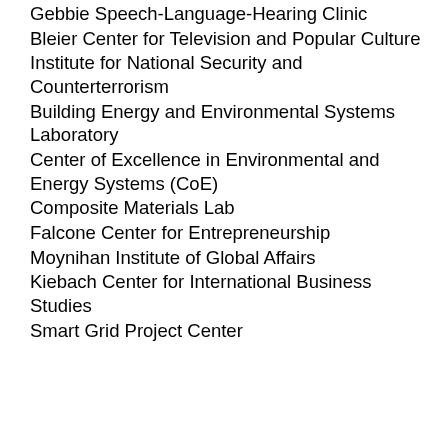Gebbie Speech-Language-Hearing Clinic
Bleier Center for Television and Popular Culture
Institute for National Security and Counterterrorism
Building Energy and Environmental Systems Laboratory
Center of Excellence in Environmental and Energy Systems (CoE)
Composite Materials Lab
Falcone Center for Entrepreneurship
Moynihan Institute of Global Affairs
Kiebach Center for International Business Studies
Smart Grid Project Center